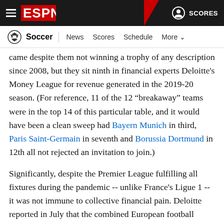ESPN Navigation bar with hamburger menu, ESPN logo, and SCORES link
Soccer | News  Scores  Schedule  More
came despite them not winning a trophy of any description since 2008, but they sit ninth in financial experts Deloitte's Money League for revenue generated in the 2019-20 season. (For reference, 11 of the 12 "breakaway" teams were in the top 14 of this particular table, and it would have been a clean sweep had Bayern Munich in third, Paris Saint-Germain in seventh and Borussia Dortmund in 12th all not rejected an invitation to join.)
Significantly, despite the Premier League fulfilling all fixtures during the pandemic -- unlike France's Ligue 1 -- it was not immune to collective financial pain. Deloitte reported in July that the combined European football market contracted by 13% in 2019-20, with a first reduction in revenues since the global financial crisis of 2008.